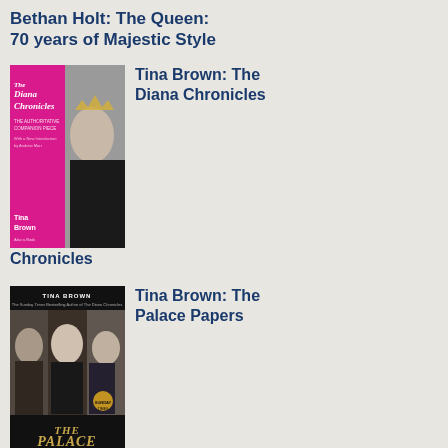Bethan Holt: The Queen: 70 years of Majestic Style
[Figure (illustration): Book cover of The Diana Chronicles by Tina Brown - pink and white cover with portrait of Princess Diana]
Tina Brown: The Diana Chronicles
[Figure (illustration): Book cover of The Palace Papers by Tina Brown - dark cover with photos of royal women]
Tina Brown: The Palace Papers
[Figure (illustration): Book cover of The Provincial Lady Goes Further]
E M
ser he lea pat and gui and wh the opp con to esc he sie: it and ma his wa' to the am